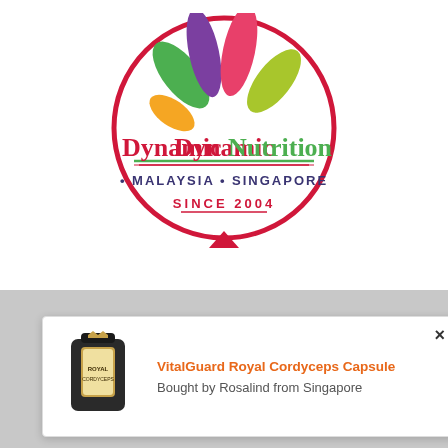[Figure (logo): Dynamic Nutrition logo — circular badge with colorful splash marks (green, purple, pink/red, orange, lime) above the text 'Dynamic Nutrition' in red/green, '· MALAYSIA · SINGAPORE' in dark blue/purple, 'SINCE 2004' in red, all enclosed in a red circle with a downward-pointing red triangle at the bottom.]
Terms of Use    Privacy Policy    Disclaimer
Medical Disclaimer    Featured Products
VesPro    Affiliate Home
ldn Bhd - Reg
[Figure (screenshot): Popup notification showing a product image (VitalGuard Royal Cordyceps Capsule bottle), the product name in orange text, and 'Bought by Rosalind from Singapore' in gray text. A close (×) button is in the top right corner.]
VitalGuard Royal Cordyceps Capsule
Bought by Rosalind from Singapore